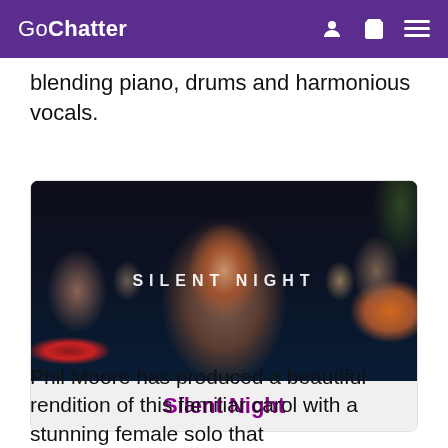GoChatter
blending piano, drums and harmonious vocals.
[Figure (photo): A female singer with red hair and glasses performing at a microphone, with a drummer on the left and a guitarist on the right. Christmas tree visible in background. Text overlay reads SILENT NIGHT.]
Silent Night
Phil Moore has produced a beautiful rendition of this familiar carol with a stunning female solo that